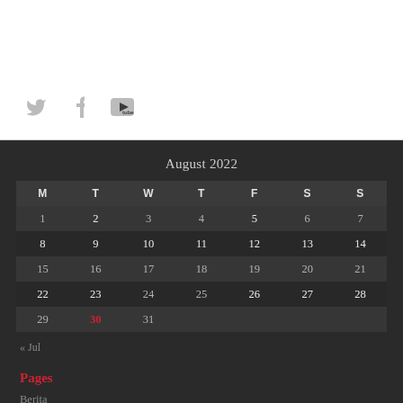[Figure (other): Social media icons: Twitter bird, Facebook f, YouTube logo in gray on white background]
August 2022
| M | T | W | T | F | S | S |
| --- | --- | --- | --- | --- | --- | --- |
| 1 | 2 | 3 | 4 | 5 | 6 | 7 |
| 8 | 9 | 10 | 11 | 12 | 13 | 14 |
| 15 | 16 | 17 | 18 | 19 | 20 | 21 |
| 22 | 23 | 24 | 25 | 26 | 27 | 28 |
| 29 | 30 | 31 |  |  |  |  |
« Jul
Pages
Berita
Contact
Pabila Mambang Berkata-Kata